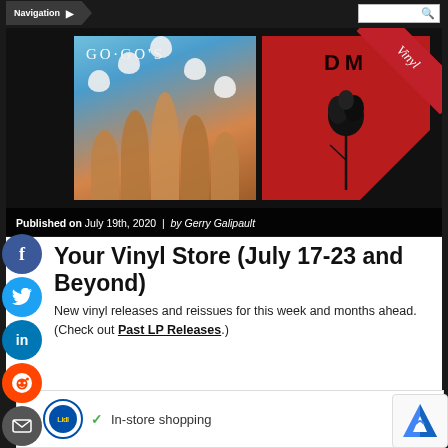Navigation
[Figure (photo): Hero image showing two album covers: The Go-Go's album with colorful women in towels on blue background, and a Depeche Mode album with rose on red background. A red 'Vinyl' ribbon banner appears in the top right corner. Bottom overlay shows: Published on July 19th, 2020 | by Gerry Galipault]
Your Vinyl Store (July 17-23 and Beyond)
New vinyl releases and reissues for this week and months ahead. (Check out Past LP Releases.)
[Figure (other): Advertisement banner: Lidl logo, checkmark, 'In-store shopping' text, navigation arrow icon]